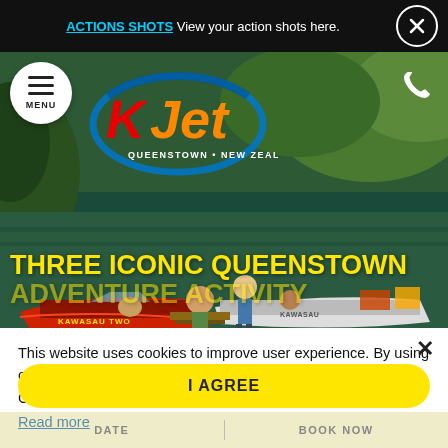ACTIONS SHOTS View your action shots here.
[Figure (screenshot): KJet Queenstown New Zealand hero image showing two jet boats (KAWASAU TWO and KAWASAU) on a river with passengers and lush green bush background. KJet logo with blue circle and orange/red/yellow text overlaid at top left with menu button and phone icon.]
THREE ICONIC QUEENSTOWN
ADVENTURE ACTIVITY
This website uses cookies to improve user experience. By using our website you consent to all cookies in accordance with our Cookie Policy.
Read more
I AGREE
DATE   BOOK NOW